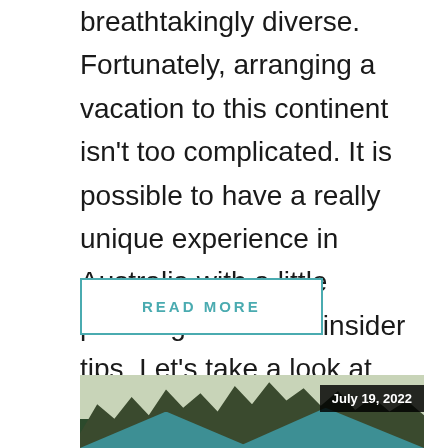breathtakingly diverse. Fortunately, arranging a vacation to this continent isn't too complicated. It is possible to have a really unique experience in Australia with a little planning and a few insider tips. Let's take a look at them! 1. Find a suitable accommodation […]
READ MORE
[Figure (photo): Outdoor camping scene with teal/green cabin rooftops in the foreground, dense evergreen trees in the background, and a date badge showing 'July 19, 2022' in the upper right corner.]